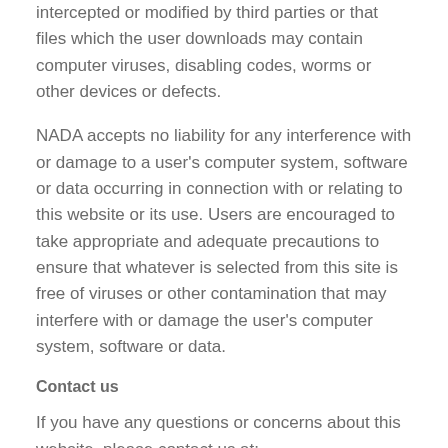intercepted or modified by third parties or that files which the user downloads may contain computer viruses, disabling codes, worms or other devices or defects.
NADA accepts no liability for any interference with or damage to a user's computer system, software or data occurring in connection with or relating to this website or its use. Users are encouraged to take appropriate and adequate precautions to ensure that whatever is selected from this site is free of viruses or other contamination that may interfere with or damage the user's computer system, software or data.
Contact us
If you have any questions or concerns about this website, please contact us at: